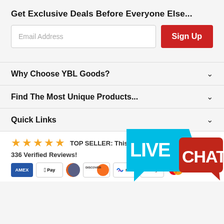Get Exclusive Deals Before Everyone Else...
Email Address
Sign Up
Why Choose YBL Goods?
Find The Most Unique Products...
Quick Links
[Figure (logo): Live Chat button overlay in blue and red speech bubble shapes]
TOP SELLER: This product has a 4.65 Star rating with 336 Verified Reviews!
[Figure (infographic): Payment method icons: AMEX, Apple Pay, Diners Club, Discover, Meta Pay, Google Pay, Mastercard]